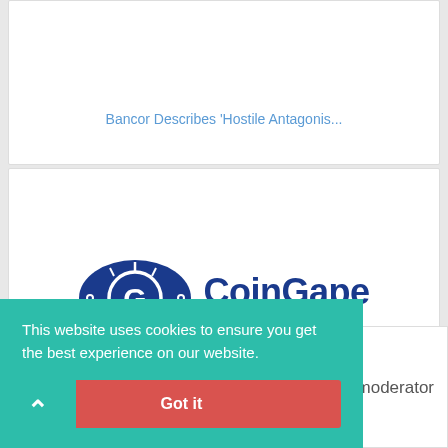Bancor Describes 'Hostile Antagonis...
[Figure (logo): CoinGape logo — blue oval with stylized G icon on left, 'CoinGape' in large dark blue text on right, subtitle 'The internet of money' in smaller blue text below]
Celsius Withdraws ETH Positions Fro...
This website uses cookies to ensure you get the best experience on our website.
Got it
moderator